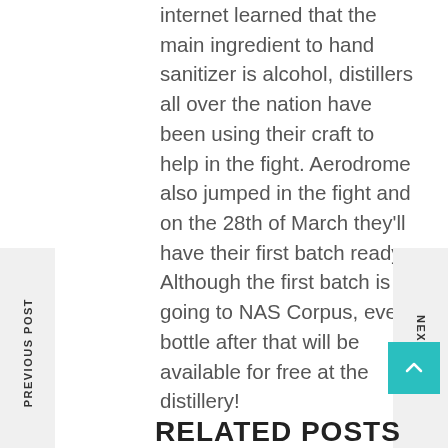internet learned that the main ingredient to hand sanitizer is alcohol, distillers all over the nation have been using their craft to help in the fight. Aerodrome also jumped in the fight and on the 28th of March they'll have their first batch ready. Although the first batch is going to NAS Corpus, every bottle after that will be available for free at the distillery!
PREVIOUS POST
NEXT POST
RELATED POSTS